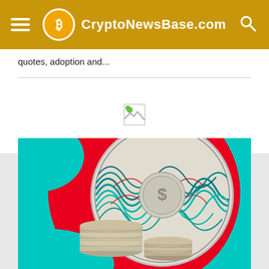CryptoNewsBase.com
quotes, adoption and...
[Figure (illustration): Broken image placeholder icon]
[Figure (illustration): Colorful artistic illustration of a large decorative coin with swirling teal and red patterns, with stacks of silver coins in the foreground on a red and teal background]